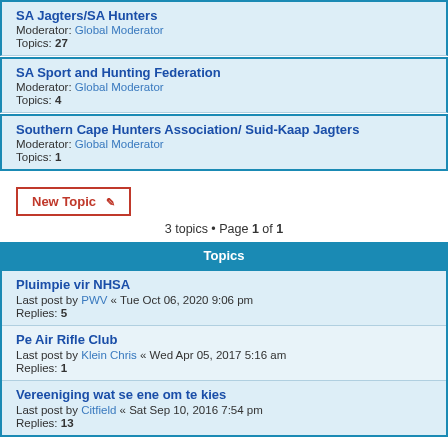SA Jagters/SA Hunters
Moderator: Global Moderator
Topics: 27
SA Sport and Hunting Federation
Moderator: Global Moderator
Topics: 4
Southern Cape Hunters Association/ Suid-Kaap Jagters
Moderator: Global Moderator
Topics: 1
New Topic
3 topics • Page 1 of 1
Topics
Pluimpie vir NHSA
Last post by PWV « Tue Oct 06, 2020 9:06 pm
Replies: 5
Pe Air Rifle Club
Last post by Klein Chris « Wed Apr 05, 2017 5:16 am
Replies: 1
Vereeniging wat se ene om te kies
Last post by Citfield « Sat Sep 10, 2016 7:54 pm
Replies: 13